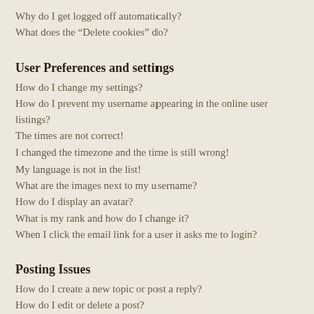Why do I get logged off automatically?
What does the “Delete cookies” do?
User Preferences and settings
How do I change my settings?
How do I prevent my username appearing in the online user listings?
The times are not correct!
I changed the timezone and the time is still wrong!
My language is not in the list!
What are the images next to my username?
How do I display an avatar?
What is my rank and how do I change it?
When I click the email link for a user it asks me to login?
Posting Issues
How do I create a new topic or post a reply?
How do I edit or delete a post?
How do I add a signature to my post?
How do I create a poll?
Why can’t I add more poll options?
How do I edit or delete a poll?
Why can’t I access a forum?
Why can’t I add attachments?